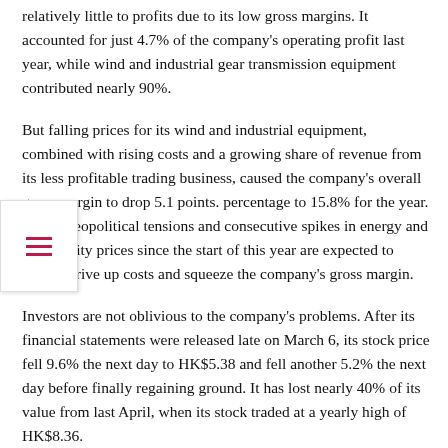relatively little to profits due to its low gross margins. It accounted for just 4.7% of the company's operating profit last year, while wind and industrial gear transmission equipment contributed nearly 90%.
But falling prices for its wind and industrial equipment, combined with rising costs and a growing share of revenue from its less profitable trading business, caused the company's overall gross margin to drop 5.1 points. percentage to 15.8% for the year. Rising geopolitical tensions and consecutive spikes in energy and commodity prices since the start of this year are expected to further drive up costs and squeeze the company's gross margin.
Investors are not oblivious to the company's problems. After its financial statements were released late on March 6, its stock price fell 9.6% the next day to HK$5.38 and fell another 5.2% the next day before finally regaining ground. It has lost nearly 40% of its value from last April, when its stock traded at a yearly high of HK$8.36.
According to data from China's National Energy Administration